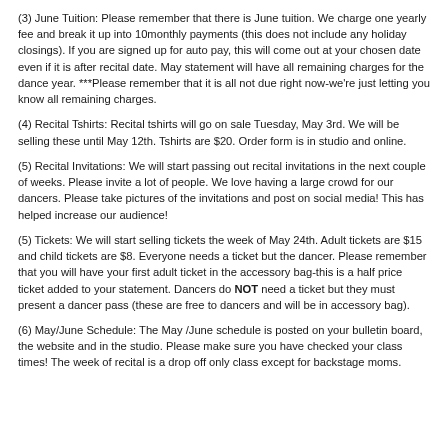(3) June Tuition: Please remember that there is June tuition. We charge one yearly fee and break it up into 10monthly payments (this does not include any holiday closings). If you are signed up for auto pay, this will come out at your chosen date even if it is after recital date. May statement will have all remaining charges for the dance year. ***Please remember that it is all not due right now-we're just letting you know all remaining charges.
(4) Recital Tshirts: Recital tshirts will go on sale Tuesday, May 3rd. We will be selling these until May 12th. Tshirts are $20. Order form is in studio and online.
(5) Recital Invitations: We will start passing out recital invitations in the next couple of weeks. Please invite a lot of people. We love having a large crowd for our dancers. Please take pictures of the invitations and post on social media! This has helped increase our audience!
(5) Tickets: We will start selling tickets the week of May 24th. Adult tickets are $15 and child tickets are $8. Everyone needs a ticket but the dancer. Please remember that you will have your first adult ticket in the accessory bag-this is a half price ticket added to your statement. Dancers do NOT need a ticket but they must present a dancer pass (these are free to dancers and will be in accessory bag).
(6) May/June Schedule: The May /June schedule is posted on your bulletin board, the website and in the studio. Please make sure you have checked your class times! The week of recital is a drop off only class except for backstage moms.